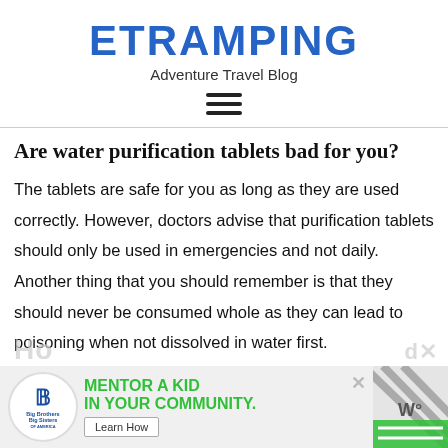ETRAMPING
Adventure Travel Blog
Are water purification tablets bad for you?
The tablets are safe for you as long as they are used correctly. However, doctors advise that purification tablets should only be used in emergencies and not daily. Another thing that you should remember is that they should never be consumed whole as they can lead to poisoning when not dissolved in water first.
[Figure (other): Advertisement banner: Big Brothers Big Sisters logo with text 'MENTOR A KID IN YOUR COMMUNITY.' and a 'Learn How' button, with a diagonal stripe pattern and close buttons on the right.]